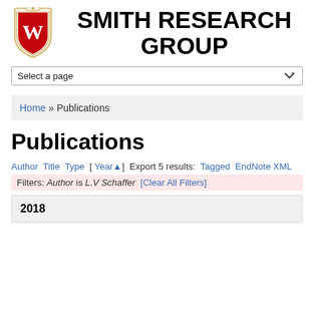[Figure (logo): University of Wisconsin-Madison crest/shield logo with W letter in red]
SMITH RESEARCH GROUP
Select a page
Home » Publications
Publications
Author Title Type [ Year▲] Export 5 results: Tagged EndNote XML
Filters: Author is L.V Schaffer [Clear All Filters]
2018